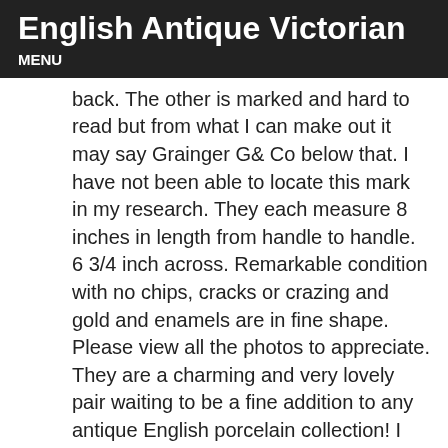English Antique Victorian
MENU
back. The other is marked and hard to read but from what I can make out it may say Grainger G& Co below that. I have not been able to locate this mark in my research. They each measure 8 inches in length from handle to handle. 6 3/4 inch across. Remarkable condition with no chips, cracks or crazing and gold and enamels are in fine shape. Please view all the photos to appreciate. They are a charming and very lovely pair waiting to be a fine addition to any antique English porcelain collection! I have many other porcelains listed now- be sure to take a look. Limoges, Haviland, Rosenthal, Hutschenreuther, Wedgwood, Spode, Royal Worcester, Minton, Royal Crown Derby and others! Please take a look at many new items added daily. Antique